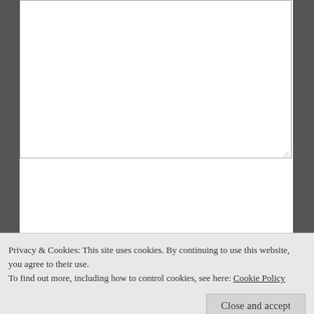[Figure (screenshot): A large empty textarea input field with a resize handle in the bottom-right corner]
NAME *
[Figure (screenshot): NAME text input field]
EMAIL *
[Figure (screenshot): EMAIL text input field]
WEBSITE
[Figure (screenshot): WEBSITE text input field]
Privacy & Cookies: This site uses cookies. By continuing to use this website, you agree to their use.
To find out more, including how to control cookies, see here: Cookie Policy
Close and accept
for the next